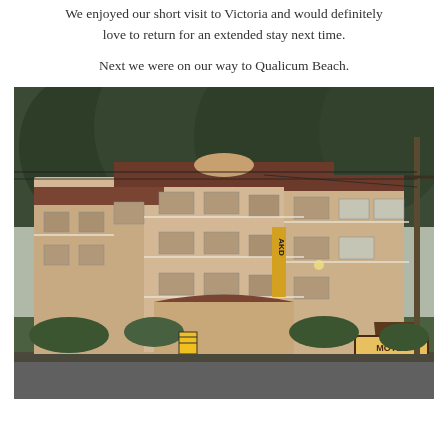We enjoyed our short visit to Victoria and would definitely love to return for an extended stay next time.
Next we were on our way to Qualicum Beach.
[Figure (photo): A multi-story motel building with balconies, surrounded by tall evergreen trees, with a motel sign reading 'MOTEL' and 'VACANCY' in the foreground, and a utility pole on the right side. Taken at dusk/evening.]